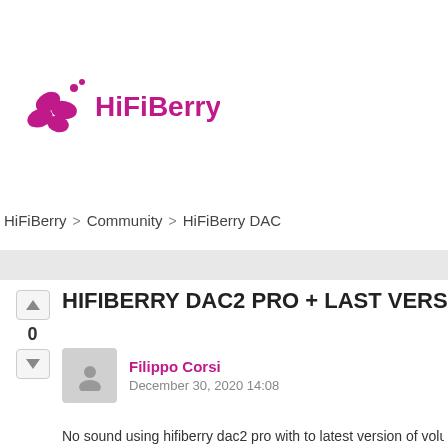[Figure (logo): HiFiBerry logo with pink berry graphic and pink/red HiFiBerry text]
HiFiBerry > Community > HiFiBerry DAC
HIFIBERRY DAC2 PRO + LAST VERSIO...
Filippo Corsi
December 30, 2020 14:08
No sound using hifiberry dac2 pro with to latest version of volumio in...